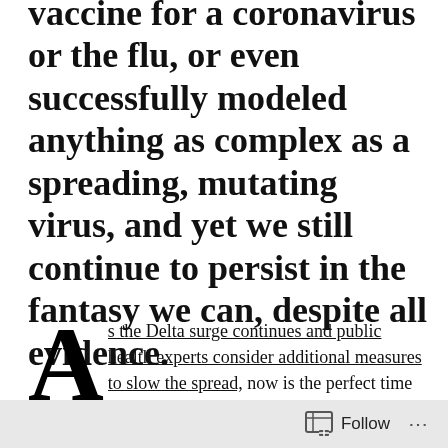vaccine for a coronavirus or the flu, or even successfully modeled anything as complex as a spreading, mutating virus, and yet we still continue to persist in the fantasy we can, despite all evidence.
As the Delta surge continues and public health experts consider additional measures to slow the spread, now is the perfect time to consider the insane hubris that underlying our response from the beginning. The concept of “hubris” comes to us from the
Follow